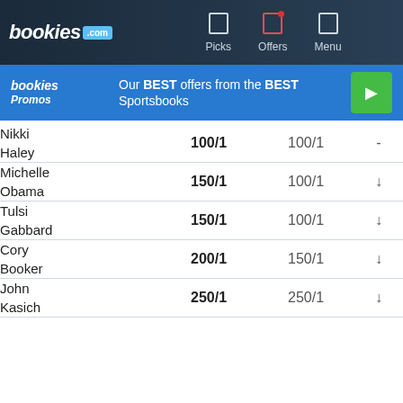[Figure (screenshot): bookies.com navigation bar with logo, Picks, Offers, and Menu icons]
[Figure (screenshot): bookies Promos banner: Our BEST offers from the BEST Sportsbooks with green play button]
| Name | Odds 1 | Odds 2 | Movement |
| --- | --- | --- | --- |
| Nikki Haley | 100/1 | 100/1 | - |
| Michelle Obama | 150/1 | 100/1 | ↓ |
| Tulsi Gabbard | 150/1 | 100/1 | ↓ |
| Cory Booker | 200/1 | 150/1 | ↓ |
| John Kasich | 250/1 | 250/1 | ↓ |